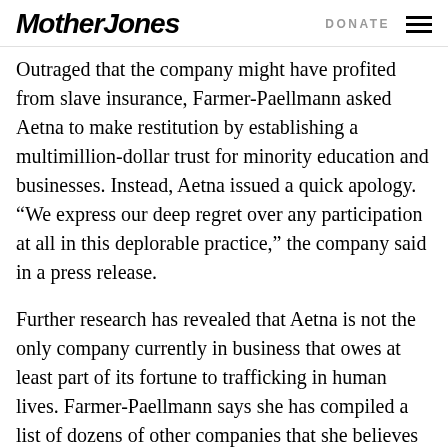Mother Jones | DONATE
Outraged that the company might have profited from slave insurance, Farmer-Paellmann asked Aetna to make restitution by establishing a multimillion-dollar trust for minority education and businesses. Instead, Aetna issued a quick apology. “We express our deep regret over any participation at all in this deplorable practice,” the company said in a press release.
Further research has revealed that Aetna is not the only company currently in business that owes at least part of its fortune to trafficking in human lives. Farmer-Paellmann says she has compiled a list of dozens of other companies that she believes benefited from slavery — in industries ranging from